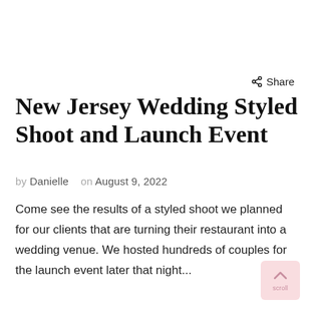Share
New Jersey Wedding Styled Shoot and Launch Event
by Danielle   on August 9, 2022
Come see the results of a styled shoot we planned for our clients that are turning their restaurant into a wedding venue. We hosted hundreds of couples for the launch event later that night...
[Figure (other): Scroll to top button with upward arrow icon, pink background]